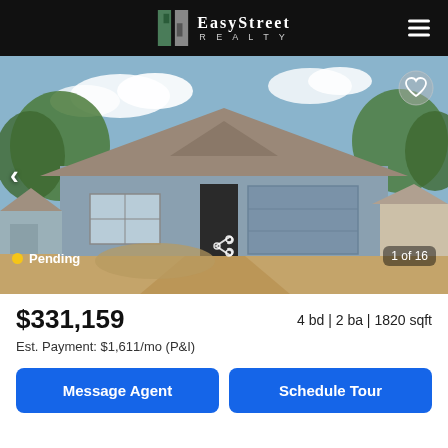EasyStreet Realty
[Figure (photo): Under-construction single-story house with grey siding and two-car garage, blue sky background, dirt yard in front. Status: Pending. 1 of 16 photos.]
$331,159
4 bd | 2 ba | 1820 sqft
Est. Payment: $1,611/mo (P&I)
Message Agent
Schedule Tour